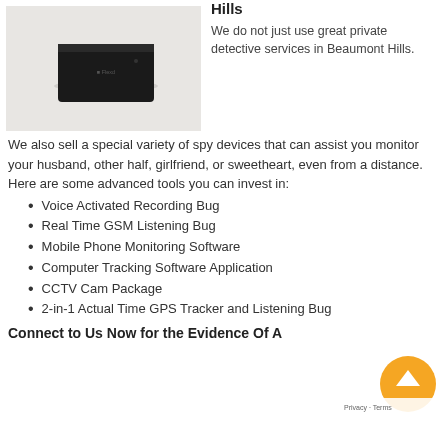[Figure (photo): A small black rectangular GPS tracker device mounted on a white/light grey wall surface]
Hills
We do not just use great private detective services in Beaumont Hills. We also sell a special variety of spy devices that can assist you monitor your husband, other half, girlfriend, or sweetheart, even from a distance. Here are some advanced tools you can invest in:
Voice Activated Recording Bug
Real Time GSM Listening Bug
Mobile Phone Monitoring Software
Computer Tracking Software Application
CCTV Cam Package
2-in-1 Actual Time GPS Tracker and Listening Bug
Connect to Us Now for the Evidence Of A